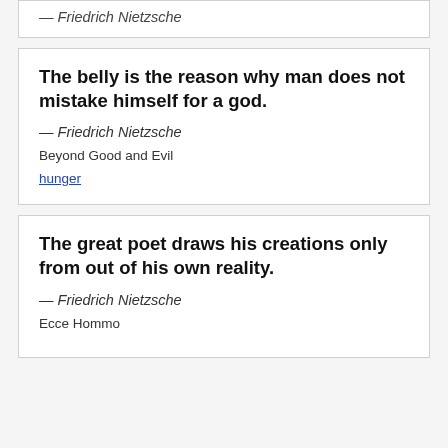— Friedrich Nietzsche
The belly is the reason why man does not mistake himself for a god.
— Friedrich Nietzsche
Beyond Good and Evil
hunger
The great poet draws his creations only from out of his own reality.
— Friedrich Nietzsche
Ecce Hommo